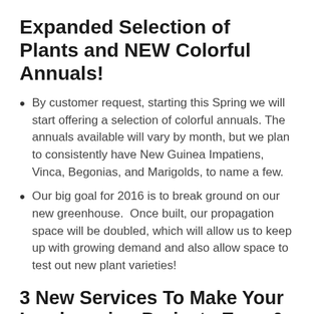Expanded Selection of Plants and NEW Colorful Annuals!
By customer request, starting this Spring we will start offering a selection of colorful annuals. The annuals available will vary by month, but we plan to consistently have New Guinea Impatiens, Vinca, Begonias, and Marigolds, to name a few.
Our big goal for 2016 is to break ground on our new greenhouse.  Once built, our propagation space will be doubled, which will allow us to keep up with growing demand and also allow space to test out new plant varieties!
3 New Services To Make Your Landscaping Projects Easy & Rewarding